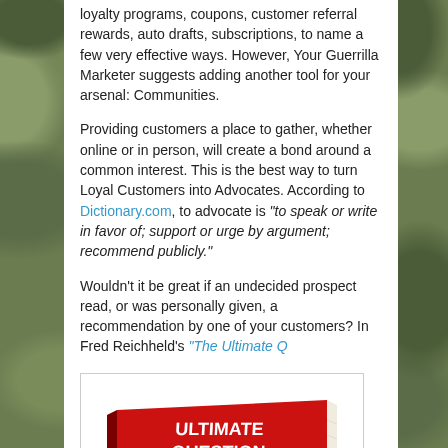loyalty programs, coupons, customer referral rewards, auto drafts, subscriptions, to name a few very effective ways. However, Your Guerrilla Marketer suggests adding another tool for your arsenal: Communities.
Providing customers a place to gather, whether online or in person, will create a bond around a common interest. This is the best way to turn Loyal Customers into Advocates. According to Dictionary.com, to advocate is "to speak or write in favor of; support or urge by argument; recommend publicly."
Wouldn't it be great if an undecided prospect read, or was personally given, a recommendation by one of your customers? In Fred Reichheld's "The Ultimate Q
[Figure (photo): Book cover of 'The Ultimate Question: Driving Good Profits and True Growth' by Fred Reichheld, shown as a red hardcover book with yellow stripe]